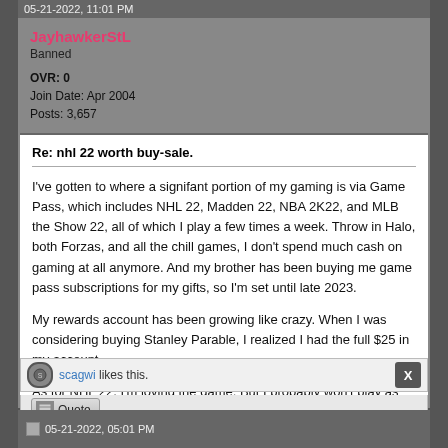05-21-2022, 11:01 PM
JayhawkerStL
Banned
OVR: 0
Join Date: Apr 2004
Posts: 3,657
Re: nhl 22 worth buy-sale.
I've gotten to where a signifant portion of my gaming is via Game Pass, which includes NHL 22, Madden 22, NBA 2K22, and MLB the Show 22, all of which I play a few times a week. Throw in Halo, both Forzas, and all the chill games, I don't spend much cash on gaming at all anymore. And my brother has been buying me game pass subscriptions for my gifts, so I'm set until late 2023.

My rewards account has been growing like crazy. When I was considering buying Stanley Parable, I realized I had the full $25 in my account.

As for NHL 22, I'm loving the game. But I probably won't play as much once the Blues are out of the playoffs.
scagwi likes this.
05-21-2022, 05:01 PM